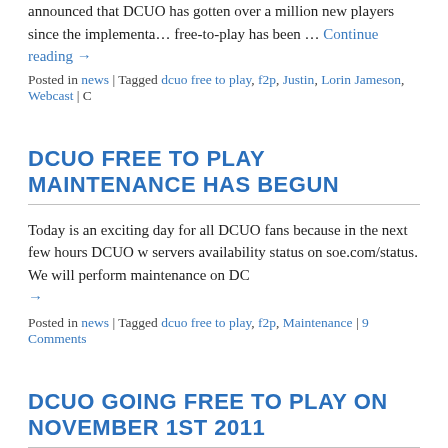announced that DCUO has gotten over a million new players since the implementation of free-to-play has been … Continue reading →
Posted in news | Tagged dcuo free to play, f2p, Justin, Lorin Jameson, Webcast | C
DCUO FREE TO PLAY MAINTENANCE HAS BEGUN
Today is an exciting day for all DCUO fans because in the next few hours DCUO w servers availability status on soe.com/status. We will perform maintenance on DC Continue reading →
Posted in news | Tagged dcuo free to play, f2p, Maintenance | 9 Comments
DCUO GOING FREE TO PLAY ON NOVEMBER 1ST 2011
Executive Producer Lorin Jameson and Creative Director Jens Anderson announce channel on Stickam that DCUO is going Free to Play on November 1st, 2011. If yo Continue reading →
Posted in news | Tagged f2p, free to play, stickam, Webcast | Comments Off